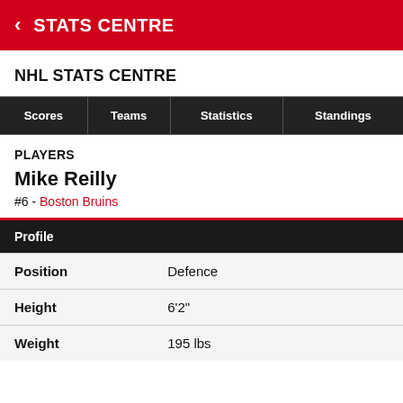STATS CENTRE
NHL STATS CENTRE
| Scores | Teams | Statistics | Standings |
| --- | --- | --- | --- |
PLAYERS
Mike Reilly
#6 - Boston Bruins
| Profile |  |
| --- | --- |
| Position | Defence |
| Height | 6'2" |
| Weight | 195 lbs |